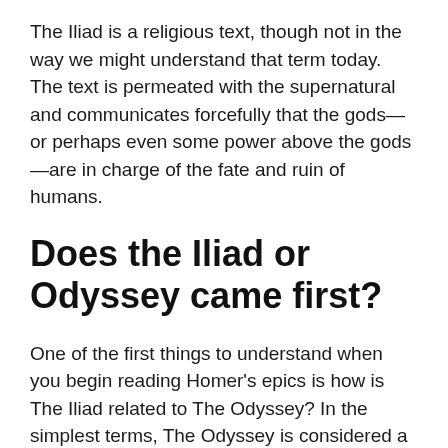The Iliad is a religious text, though not in the way we might understand that term today. The text is permeated with the supernatural and communicates forcefully that the gods—or perhaps even some power above the gods—are in charge of the fate and ruin of humans.
Does the Iliad or Odyssey came first?
One of the first things to understand when you begin reading Homer's epics is how is The Iliad related to The Odyssey? In the simplest terms, The Odyssey is considered a sort of sequel to The Iliad. Both epics consist of 24 books and revolve around a specific